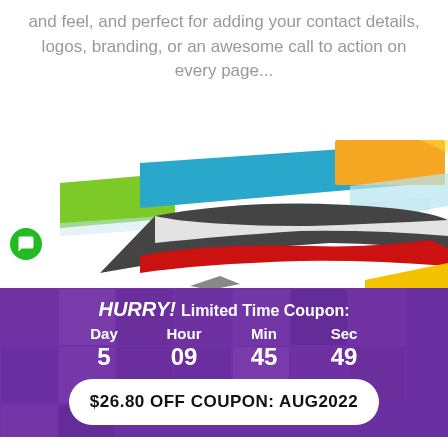and feel, and perfect for adding your contact details, logos, branding, or an awesome call to action on every page...
[Figure (illustration): Colorful decorative header/footer divider elements: a multi-colored horizontal banner (green, blue, orange, light blue) and a swooping dark gray and red wave shape, with a yellow triangle partially visible at the bottom right. A green chat bubble icon is on the left.]
HURRY! Limited Time Coupon:
Day 5  Hour 09  Min 45  Sec 49
$26.80 OFF COUPON: AUG2022